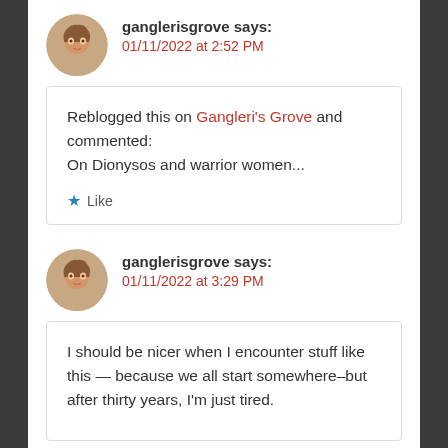[Figure (photo): Circular avatar photo of a woman with curly hair]
ganglerisgrove says:
01/11/2022 at 2:52 PM
Reblogged this on Gangleri's Grove and commented:
On Dionysos and warrior women...
Like
[Figure (photo): Circular avatar photo of a woman with curly hair]
ganglerisgrove says:
01/11/2022 at 3:29 PM
I should be nicer when I encounter stuff like this — because we all start somewhere–but after thirty years, I'm just tired.